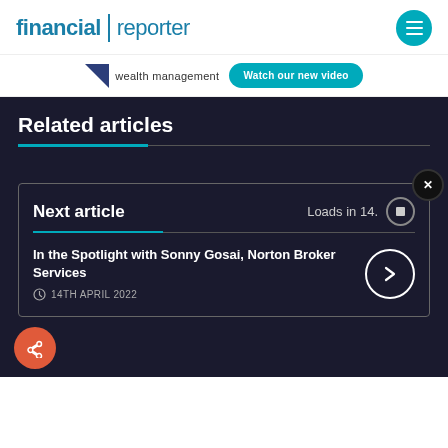financial reporter
[Figure (logo): Financial Reporter logo with teal text and vertical divider, plus teal circular menu button]
[Figure (other): Advertisement bar with wealth management logo and 'Watch our new video' teal button]
Related articles
Next article   Loads in 14.
In the Spotlight with Sonny Gosai, Norton Broker Services
14TH APRIL 2022